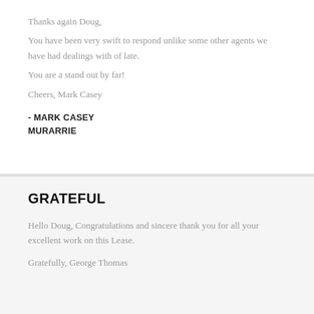Thanks again Doug, You have been very swift to respond unlike some other agents we have had dealings with of late. You are a stand out by far! Cheers, Mark Casey
- MARK CASEY
MURARRIE
GRATEFUL
Hello Doug, Congratulations and sincere thank you for all your excellent work on this Lease.
Gratefully, George Thomas